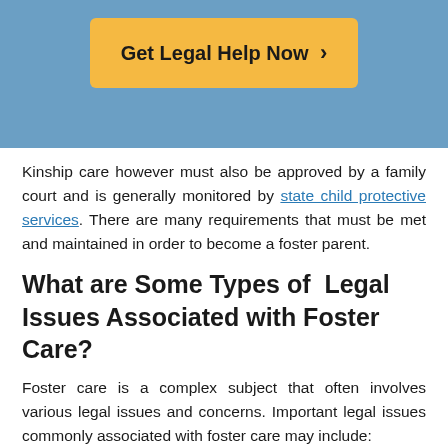[Figure (other): Orange/yellow button with text 'Get Legal Help Now >' on a blue background header]
Kinship care however must also be approved by a family court and is generally monitored by state child protective services. There are many requirements that must be met and maintained in order to become a foster parent.
What are Some Types of  Legal Issues Associated with Foster Care?
Foster care is a complex subject that often involves various legal issues and concerns. Important legal issues commonly associated with foster care may include:
Custody Rights: As mentioned above, custody rights generally lie with the state.  Usually, the foster parent acts to secure basic provisions and perform daily duties.